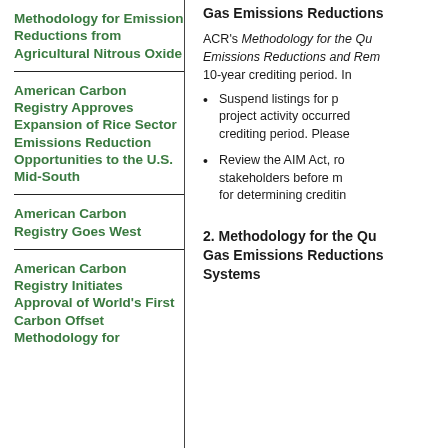Methodology for Emission Reductions from Agricultural Nitrous Oxide
American Carbon Registry Approves Expansion of Rice Sector Emissions Reduction Opportunities to the U.S. Mid-South
American Carbon Registry Goes West
American Carbon Registry Initiates Approval of World's First Carbon Offset Methodology for
Gas Emissions Reductions
ACR's Methodology for the Qu Emissions Reductions and Rem 10-year crediting period. In
Suspend listings for p project activity occurred crediting period. Please
Review the AIM Act, ro stakeholders before m for determining creditin
2. Methodology for the Qu Gas Emissions Reductions Systems